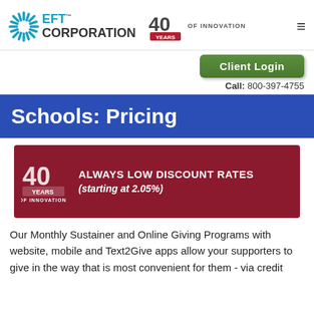[Figure (logo): LEFT Corporation logo with starburst icon, 40 Years of Innovation badge, and hamburger menu icon]
[Figure (logo): Green Client Login button]
Call: 800-397-4755
Schools: Pricing
[Figure (infographic): Dark red banner with 40 Years of Innovation badge and text: ALWAYS LOW DISCOUNT RATES (starting at 2.05%)]
Our Monthly Sustainer and Online Giving Programs with website, mobile and Text2Give apps allow your supporters to give in the way that is most convenient for them - via credit